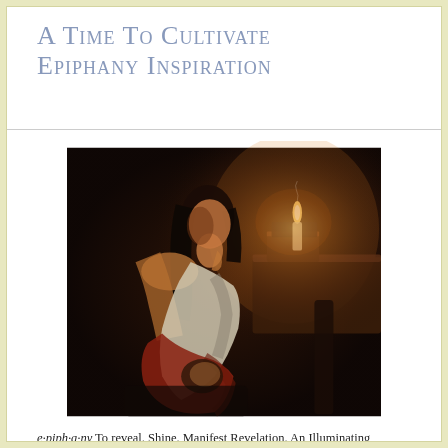A Time To Cultivate Epiphany Inspiration
[Figure (photo): A classical painting depicting a woman seated by candlelight, shown in contemplative pose with dark background. The scene is reminiscent of Baroque-style illumination with warm amber tones from the candle flame.]
e·piph·a·ny To reveal. Shine. Manifest Revelation. An Illuminating Realization or Discovery Resulting in Elation,